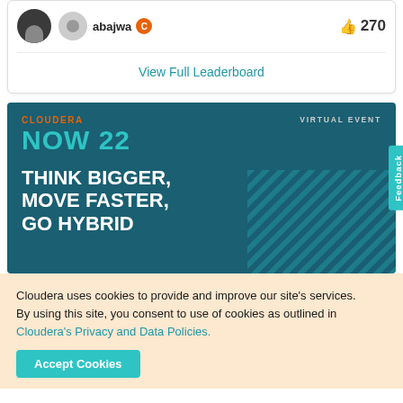abajwa  270
View Full Leaderboard
[Figure (infographic): Cloudera Now 22 virtual event banner with teal background. Shows 'CLOUDERA' in orange, 'NOW 22' in teal large text, 'VIRTUAL EVENT' label top right, and 'THINK BIGGER, MOVE FASTER, GO HYBRID' in large white bold text. Diagonal stripe pattern bottom right. Teal Feedback tab on right side.]
Cloudera uses cookies to provide and improve our site's services. By using this site, you consent to use of cookies as outlined in Cloudera's Privacy and Data Policies.
Accept Cookies